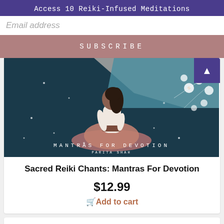Access 10 Reiki-Infused Meditations
Email address
SUBSCRIBE
[Figure (illustration): Book cover for 'Mantras For Devotion' by Parita Shah showing a woman meditating in lotus position with floral elements on a dark teal background]
Sacred Reiki Chants: Mantras For Devotion
$12.99
Add to cart